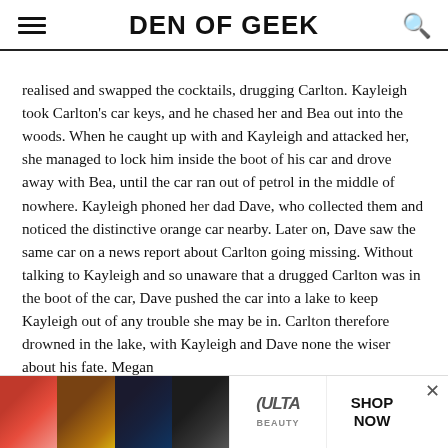DEN OF GEEK
realised and swapped the cocktails, drugging Carlton. Kayleigh took Carlton's car keys, and he chased her and Bea out into the woods. When he caught up with and Kayleigh and attacked her, she managed to lock him inside the boot of his car and drove away with Bea, until the car ran out of petrol in the middle of nowhere. Kayleigh phoned her dad Dave, who collected them and noticed the distinctive orange car nearby. Later on, Dave saw the same car on a news report about Carlton going missing. Without talking to Kayleigh and so unaware that a drugged Carlton was in the boot of the car, Dave pushed the car into a lake to keep Kayleigh out of any trouble she may be in. Carlton therefore drowned in the lake, with Kayleigh and Dave none the wiser about his fate. Megan
[Figure (other): Advertisement banner for ULTA Beauty with close-up makeup images and SHOP NOW call to action]